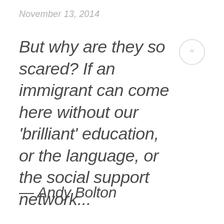November 13, 2014
But why are they so scared? If an immigrant can come here without our 'brilliant' education, or the language, or the social support network...
— Andy Bolton